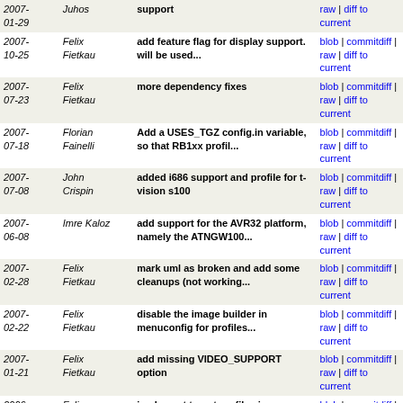| Date | Author | Message | Links |
| --- | --- | --- | --- |
| 2007-01-29 | Juhos | support | blob | commitdiff | raw | diff to current |
| 2007-10-25 | Felix Fietkau | add feature flag for display support. will be used... | blob | commitdiff | raw | diff to current |
| 2007-07-23 | Felix Fietkau | more dependency fixes | blob | commitdiff | raw | diff to current |
| 2007-07-18 | Florian Fainelli | Add a USES_TGZ config.in variable, so that RB1xx profil... | blob | commitdiff | raw | diff to current |
| 2007-07-08 | John Crispin | added i686 support and profile for t-vision s100 | blob | commitdiff | raw | diff to current |
| 2007-06-08 | Imre Kaloz | add support for the AVR32 platform, namely the ATNGW100... | blob | commitdiff | raw | diff to current |
| 2007-02-28 | Felix Fietkau | mark uml as broken and add some cleanups (not working... | blob | commitdiff | raw | diff to current |
| 2007-02-22 | Felix Fietkau | disable the image builder in menuconfig for profiles... | blob | commitdiff | raw | diff to current |
| 2007-01-21 | Felix Fietkau | add missing VIDEO_SUPPORT option | blob | commitdiff | raw | diff to current |
| 2006-11-12 | Felix Fietkau | implement target profiles in menuconfig | blob | commitdiff | raw | diff to current |
| 2006-11-12 | Felix Fietkau | fix default target | blob | commitdiff | raw | diff to current |
| 2006-11-11 | Felix Fietkau | make target/linux/* directories self-contained, use... | blob | commitdiff | raw | diff to current |
| 2006-10-27 | Imre Kaloz | rename the xscale target to ixp4xx for the forthcoming... | blob | commitdiff | raw | diff to current |